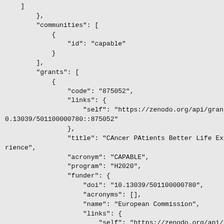]
        },
        "communities": [
            {
                "id": "capable"
            }
        ],
        "grants": [
            {
                "code": "875052",
                "links": {
                    "self": "https://zenodo.org/api/grants/10.13039/501100000780::875052"
                },
                "title": "CAncer PAtients Better Life Experience",
                "acronym": "CAPABLE",
                "program": "H2020",
                "funder": {
                    "doi": "10.13039/501100000780",
                    "acronyms": [],
                    "name": "European Commission",
                    "links": {
                        "self": "https://zenodo.org/api/funder s/10.13039/501100000780"
                    }
                }
            }
        ]
    }
}